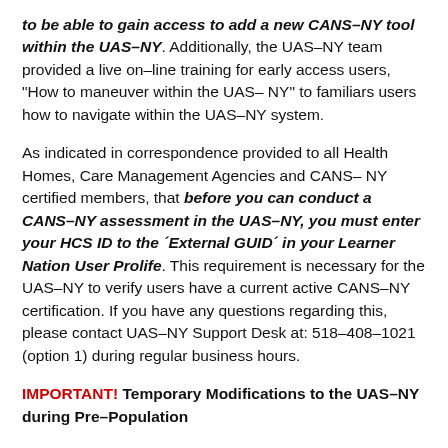to be able to gain access to add a new CANS–NY tool within the UAS–NY. Additionally, the UAS–NY team provided a live on–line training for early access users, "How to maneuver within the UAS– NY" to familiars users how to navigate within the UAS–NY system.
As indicated in correspondence provided to all Health Homes, Care Management Agencies and CANS– NY certified members, that before you can conduct a CANS–NY assessment in the UAS–NY, you must enter your HCS ID to the ´External GUID´ in your Learner Nation User Prolife. This requirement is necessary for the UAS–NY to verify users have a current active CANS–NY certification. If you have any questions regarding this, please contact UAS–NY Support Desk at: 518–408–1021 (option 1) during regular business hours.
IMPORTANT! Temporary Modifications to the UAS–NY during Pre–Population